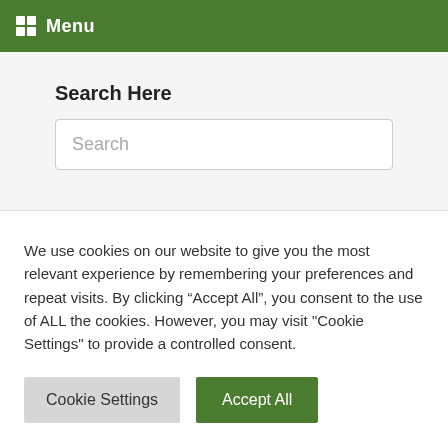Menu
Search Here
Search
We use cookies on our website to give you the most relevant experience by remembering your preferences and repeat visits. By clicking “Accept All”, you consent to the use of ALL the cookies. However, you may visit "Cookie Settings" to provide a controlled consent.
Cookie Settings
Accept All